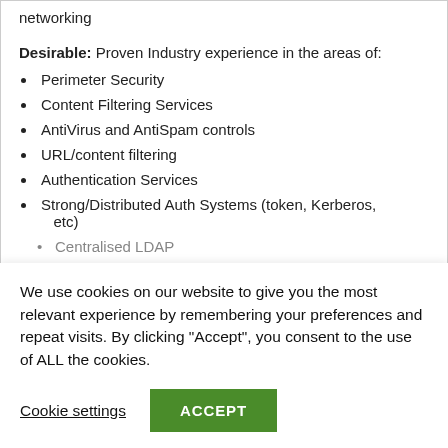networking
Desirable: Proven Industry experience in the areas of:
Perimeter Security
Content Filtering Services
AntiVirus and AntiSpam controls
URL/content filtering
Authentication Services
Strong/Distributed Auth Systems (token, Kerberos, etc)
Centralised LDAP
We use cookies on our website to give you the most relevant experience by remembering your preferences and repeat visits. By clicking “Accept”, you consent to the use of ALL the cookies.
Cookie settings
ACCEPT